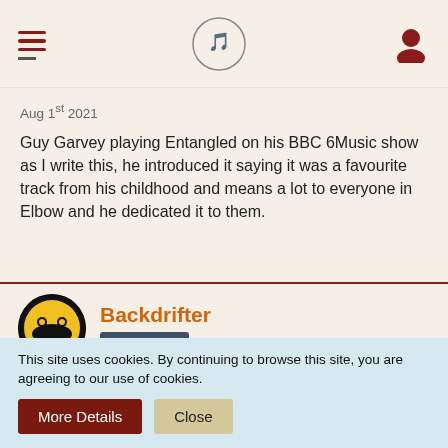Navigation header with hamburger menu, site logo, and user icon
Aug 1st 2021
Guy Garvey playing Entangled on his BBC 6Music show as I write this, he introduced it saying it was a favourite track from his childhood and means a lot to everyone in Elbow and he dedicated it to them.
Backdrifter
Enlightened
Aug 1st 2021
This site uses cookies. By continuing to browse this site, you are agreeing to our use of cookies.